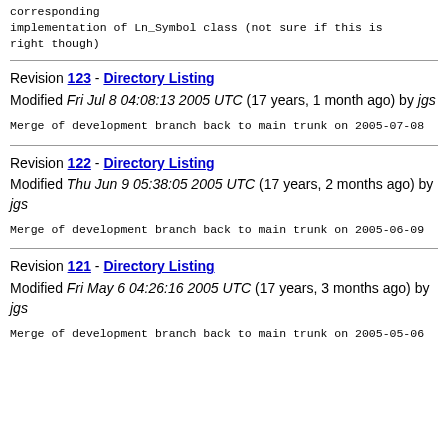corresponding implementation of Ln_Symbol class (not sure if this is right though)
Revision 123 - Directory Listing
Modified Fri Jul 8 04:08:13 2005 UTC (17 years, 1 month ago) by jgs

Merge of development branch back to main trunk on 2005-07-08
Revision 122 - Directory Listing
Modified Thu Jun 9 05:38:05 2005 UTC (17 years, 2 months ago) by jgs

Merge of development branch back to main trunk on 2005-06-09
Revision 121 - Directory Listing
Modified Fri May 6 04:26:16 2005 UTC (17 years, 3 months ago) by jgs

Merge of development branch back to main trunk on 2005-05-06